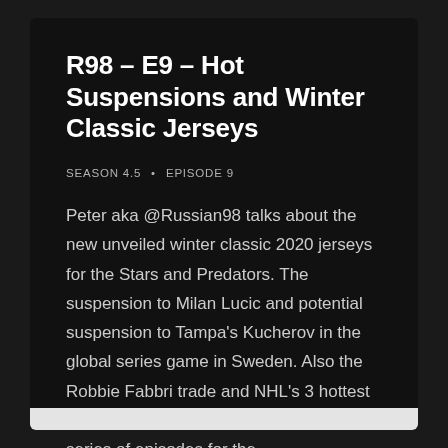R98 – E9 – Hot Suspensions and Winter Classic Jerseys
SEASON 4.5 • EPISODE 9
Peter aka @Russian98 talks about the new unveiled winter classic 2020 jerseys for the Stars and Predators. The suspension to Milan Lucic and potential suspension to Tampa's Kucherov in the global series game in Sweden. Also the Robbie Fabbri trade and NHL's 3 hottest teams. This was a spin-off temporary series of episodes for the…